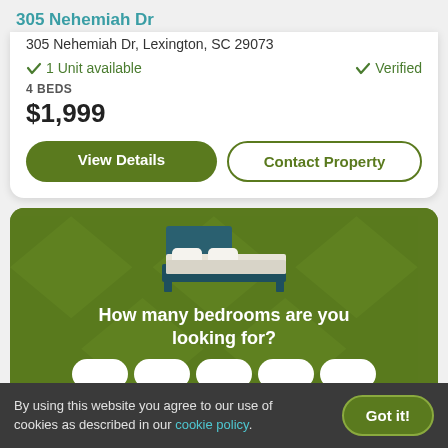305 Nehemiah Dr
305 Nehemiah Dr, Lexington, SC 29073
✓ 1 Unit available   ✓ Verified
4 BEDS
$1,999
View Details | Contact Property
[Figure (illustration): Green promotional card with bed illustration and text asking how many bedrooms the user is looking for, with selection buttons partially visible]
How many bedrooms are you looking for?
By using this website you agree to our use of cookies as described in our cookie policy.